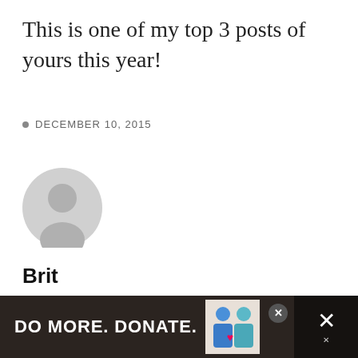This is one of my top 3 posts of yours this year!
DECEMBER 10, 2015
[Figure (illustration): Generic grey user avatar silhouette icon]
Brit
REPLY
I love this post! It cheered me up after a bad day. Terry did a great
[Figure (infographic): Advertisement banner: DO MORE. DONATE. with illustration of two people and a close button]